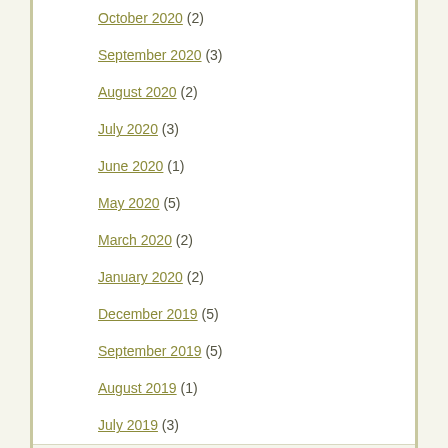October 2020 (2)
September 2020 (3)
August 2020 (2)
July 2020 (3)
June 2020 (1)
May 2020 (5)
March 2020 (2)
January 2020 (2)
December 2019 (5)
September 2019 (5)
August 2019 (1)
July 2019 (3)